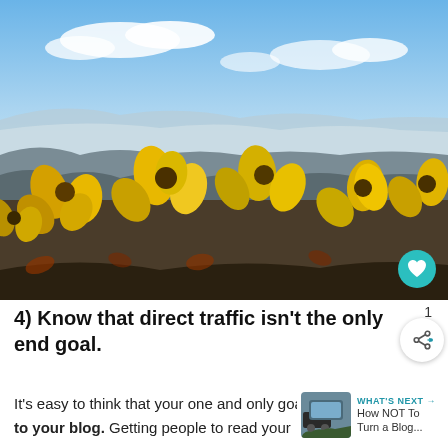[Figure (photo): Landscape photo showing yellow protea flowers in the foreground with a mountain range and blue sky with white clouds in the background, taken from a high elevation rocky terrain.]
1
4) Know that direct traffic isn't the only end goal.
It's easy to think that your one and only goal is to drive traffic to your blog. Getting people to read your
WHAT'S NEXT → How NOT To Turn a Blog...